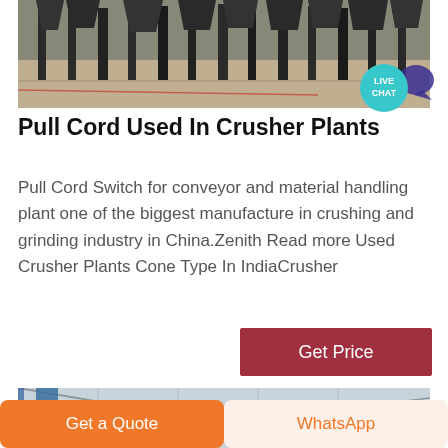[Figure (photo): Industrial crusher plant machinery with conveyor equipment in a warehouse/industrial setting, dark metallic structures on concrete floor]
Pull Cord Used In Crusher Plants
Pull Cord Switch for conveyor and material handling plant one of the biggest manufacture in crushing and grinding industry in China.Zenith Read more Used Crusher Plants Cone Type In IndiaCrusher
[Figure (photo): Interior of an industrial plant or warehouse showing structural roof trusses and blue vertical pillars]
Get Price
Get a Quote
WhatsApp